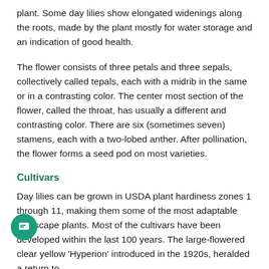plant. Some day lilies show elongated widenings along the roots, made by the plant mostly for water storage and an indication of good health.
The flower consists of three petals and three sepals, collectively called tepals, each with a midrib in the same or in a contrasting color. The center most section of the flower, called the throat, has usually a different and contrasting color. There are six (sometimes seven) stamens, each with a two-lobed anther. After pollination, the flower forms a seed pod on most varieties.
Cultivars
Day lilies can be grown in USDA plant hardiness zones 1 through 11, making them some of the most adaptable landscape plants. Most of the cultivars have been developed within the last 100 years. The large-flowered clear yellow 'Hyperion' introduced in the 1920s, heralded a return to